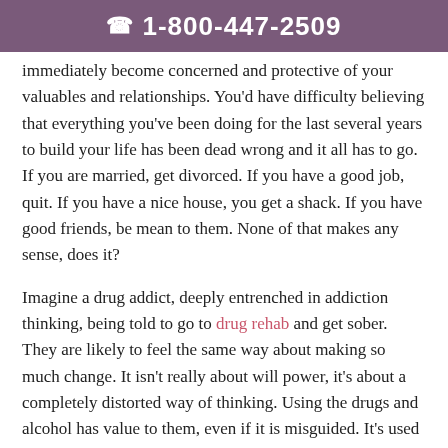1-800-447-2509
immediately become concerned and protective of your valuables and relationships.  You'd have difficulty believing that everything you've been doing for the last several years to build your life has been dead wrong and it all has to go.  If you are married, get divorced.  If you have a good job, quit.  If you have a nice house, you get a shack.  If you have good friends, be mean to them.  None of that makes any sense, does it?
Imagine a drug addict, deeply entrenched in addiction thinking, being told to go to drug rehab and get sober.  They are likely to feel the same way about making so much change.  It isn't really about will power, it's about a completely distorted way of thinking.  Using the drugs and alcohol has value to them, even if it is misguided.  It's used to cover up pain of some kind.  Take away the drugs, and the pain might become overwhelming.  Will power simply isn't enough to make things right.  Drug rehab has the people and the atmosphere to help a drug addict